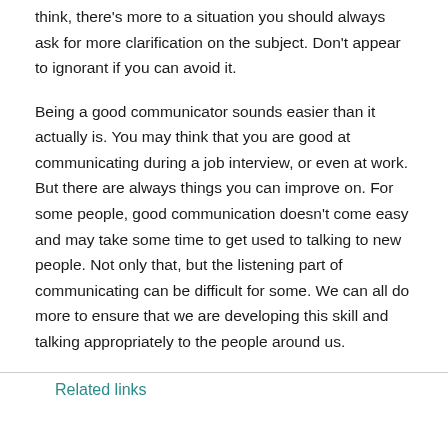think, there's more to a situation you should always ask for more clarification on the subject. Don't appear to ignorant if you can avoid it.
Being a good communicator sounds easier than it actually is. You may think that you are good at communicating during a job interview, or even at work. But there are always things you can improve on. For some people, good communication doesn't come easy and may take some time to get used to talking to new people. Not only that, but the listening part of communicating can be difficult for some. We can all do more to ensure that we are developing this skill and talking appropriately to the people around us.
Related links